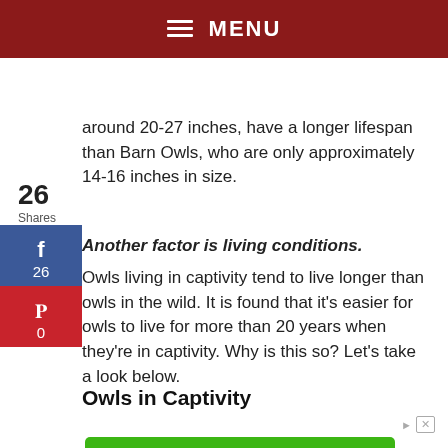MENU
around 20-27 inches, have a longer lifespan than Barn Owls, who are only approximately 14-16 inches in size.
Another factor is living conditions.
Owls living in captivity tend to live longer than owls in the wild. It is found that it's easier for owls to live for more than 20 years when they're in captivity. Why is this so? Let's take a look below.
Owls in Captivity
[Figure (other): Advertisement: Green OPEN button with BOC Sciences ad text — BOC Sciences can Provide Services for Chiral Synthesis, Resolution, and Analysis]